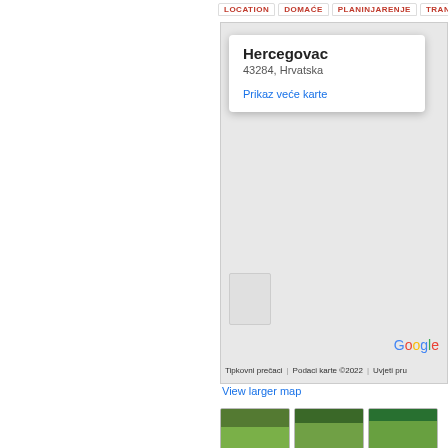LOCATION | DOMAĆE | PLANINJARENJE | TRANMOBILIZANTE
[Figure (map): Google Maps embed showing Hercegovac, 43284, Hrvatska with a popup card and Google branding, Tipkovni prečaci, Podaci karte ©2022, Uvjeti pru]
View larger map
[Figure (photo): Aerial/landscape photo of Hercegovac area - green fields]
[Figure (photo): Aerial/landscape photo of Hercegovac area - town view]
[Figure (photo): Aerial/landscape photo of Hercegovac area - green landscape]